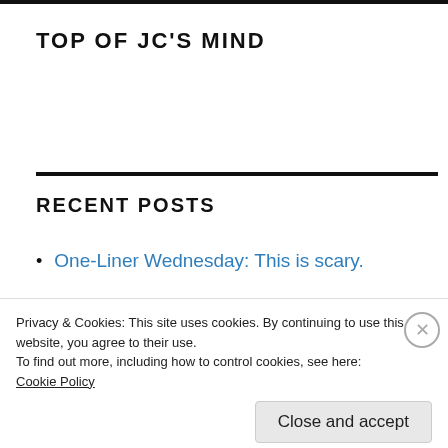TOP OF JC'S MIND
RECENT POSTS
One-Liner Wednesday: This is scary.
US education
Privacy & Cookies: This site uses cookies. By continuing to use this website, you agree to their use.
To find out more, including how to control cookies, see here:
Cookie Policy
Close and accept